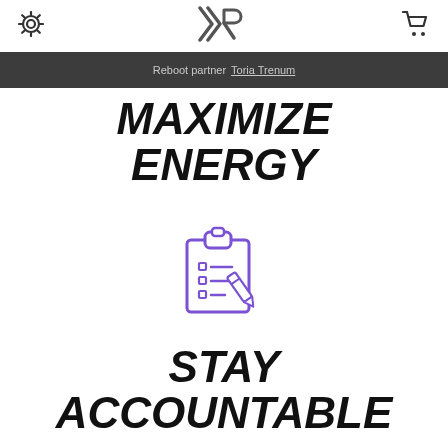Settings | Logo | Cart
Reboot partner Toria Trenum
MAXIMIZE ENERGY
[Figure (illustration): Purple clipboard with checklist and pencil icon]
STAY ACCOUNTABLE
[Figure (illustration): Partial purple circle icon at bottom of page]